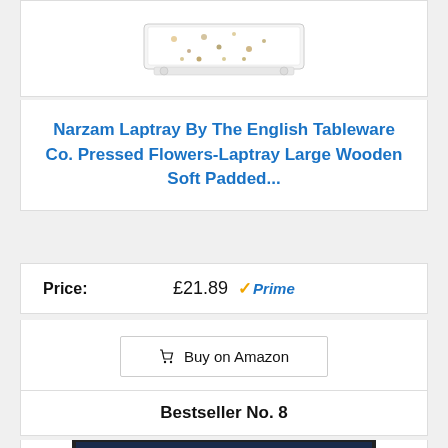[Figure (photo): Partial view of a white wooden lap tray with floral pattern top, cropped at bottom of frame]
Narzam Laptray By The English Tableware Co. Pressed Flowers-Laptray Large Wooden Soft Padded...
Price: £21.89 ✓Prime
Buy on Amazon
Bestseller No. 8
[Figure (photo): Felted wool art of a round black cat with orange eyes on a blue-white background, in a black frame]